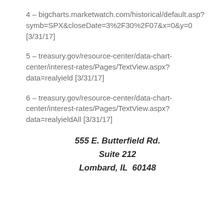4 – bigcharts.marketwatch.com/historical/default.asp?symb=SPX&closeDate=3%2F30%2F07&x=0&y=0 [3/31/17]
5 – treasury.gov/resource-center/data-chart-center/interest-rates/Pages/TextView.aspx?data=realyield [3/31/17]
6 – treasury.gov/resource-center/data-chart-center/interest-rates/Pages/TextView.aspx?data=realyieldAll [3/31/17]
555 E. Butterfield Rd.
Suite 212
Lombard, IL  60148